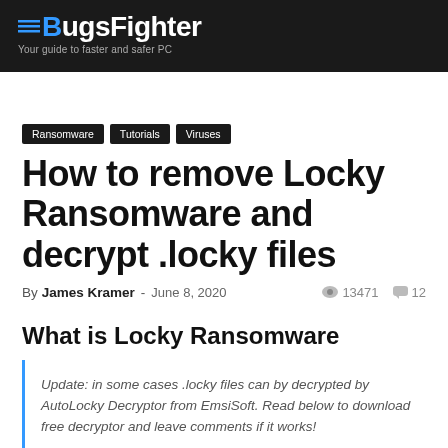BugsFighter — Your guide to faster and safer PC
Ransomware | Tutorials | Viruses
How to remove Locky Ransomware and decrypt .locky files
By James Kramer - June 8, 2020  👁 13471  💬 12
What is Locky Ransomware
Update: in some cases .locky files can by decrypted by AutoLocky Decryptor from EmsiSoft. Read below to download free decryptor and leave comments if it works!